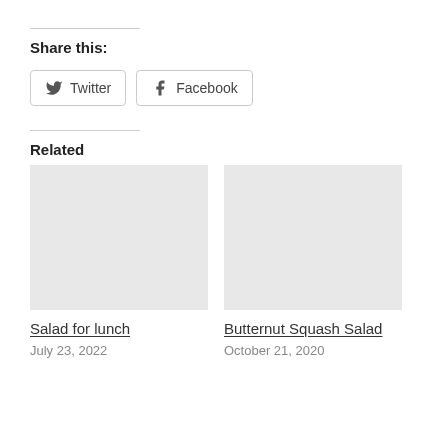Share this:
Twitter  Facebook
Related
Salad for lunch
July 23, 2022
Butternut Squash Salad
October 21, 2020